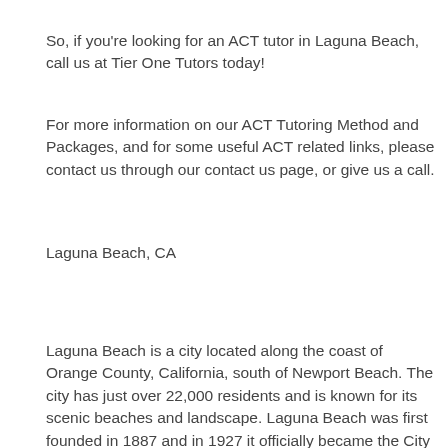So, if you're looking for an ACT tutor in Laguna Beach, call us at Tier One Tutors today!
For more information on our ACT Tutoring Method and Packages, and for some useful ACT related links, please contact us through our contact us page, or give us a call.
Laguna Beach, CA
Laguna Beach is a city located along the coast of Orange County, California, south of Newport Beach. The city has just over 22,000 residents and is known for its scenic beaches and landscape. Laguna Beach was first founded in 1887 and in 1927 it officially became the City of Laguna Beach. The